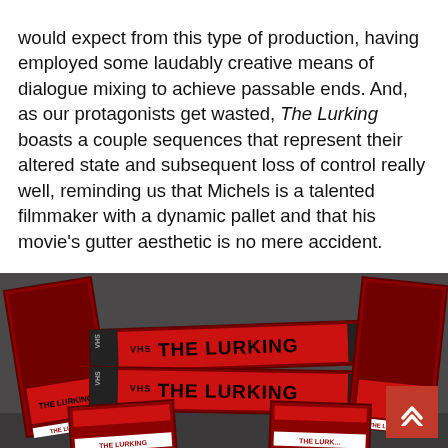would expect from this type of production, having employed some laudably creative means of dialogue mixing to achieve passable ends. And, as our protagonists get wasted, The Lurking boasts a couple sequences that represent their altered state and subsequent loss of control really well, reminding us that Michels is a talented filmmaker with a dynamic pallet and that his movie's gutter aesthetic is no mere accident.
If you're a fan of bizarre cinema, weird movies, sleazy, grimy, and violent slasher mayhem, or you just want to kill an hour staring at your television, then The Lurking satisfies all of it.
[Figure (photo): Multiple VHS tape cases for 'The Lurking' displayed on a grey surface. The red VHS boxes/cases are arranged showing the title 'THE LURKING' prominently on two horizontal tapes in the center, and additional upright VHS boxes on the left and right sides.]